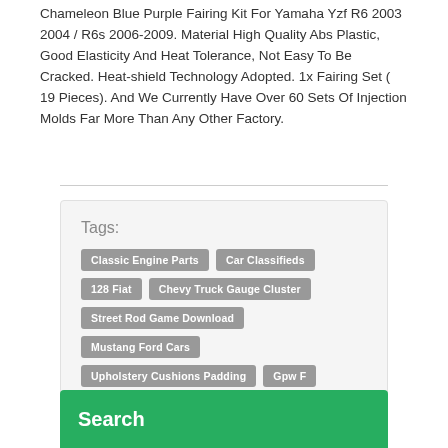Chameleon Blue Purple Fairing Kit For Yamaha Yzf R6 2003 2004 / R6s 2006-2009. Material High Quality Abs Plastic, Good Elasticity And Heat Tolerance, Not Easy To Be Cracked. Heat-shield Technology Adopted. 1x Fairing Set ( 19 Pieces). And We Currently Have Over 60 Sets Of Injection Molds Far More Than Any Other Factory.
Classic Engine Parts
Car Classifieds
128 Fiat
Chevy Truck Gauge Cluster
Street Rod Game Download
Mustang Ford Cars
Upholstery Cushions Padding
Gpw F
Chevy
Search